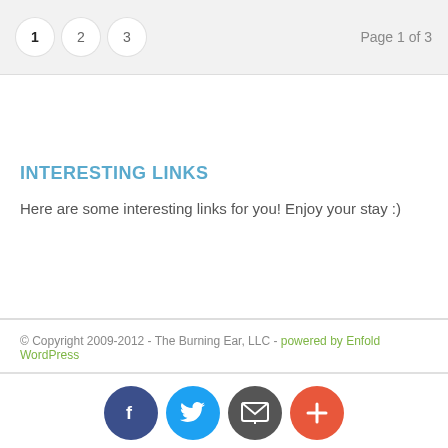1  2  3  Page 1 of 3
INTERESTING LINKS
Here are some interesting links for you! Enjoy your stay :)
© Copyright 2009-2012 - The Burning Ear, LLC - powered by Enfold WordPress
[Figure (other): Social media icons row: Facebook (dark blue circle with f), Twitter (blue circle with bird), Email/subscribe (dark grey circle with envelope), Plus/more (orange-red circle with plus sign)]